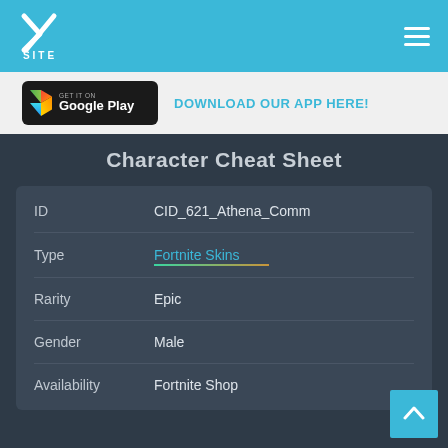XSITE
[Figure (screenshot): Google Play Store badge - GET IT ON Google Play]
DOWNLOAD OUR APP HERE!
Character Cheat Sheet
| ID | CID_621_Athena_Comm |
| Type | Fortnite Skins |
| Rarity | Epic |
| Gender | Male |
| Availability | Fortnite Shop |